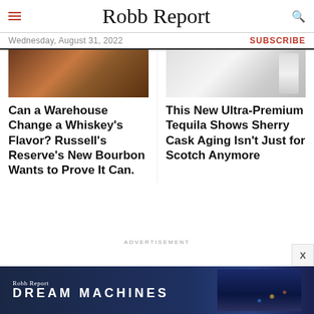Robb Report
Wednesday, August 31, 2022
SUBSCRIBE
[Figure (photo): Whiskey glass with amber liquid on wooden surface]
Can a Warehouse Change a Whiskey's Flavor? Russell's Reserve's New Bourbon Wants to Prove It Can.
[Figure (photo): Tequila bottle on white background]
This New Ultra-Premium Tequila Shows Sherry Cask Aging Isn't Just for Scotch Anymore
ADVERTISEMENT
[Figure (photo): Robb Report Dream Machines advertisement banner with city lights at night]